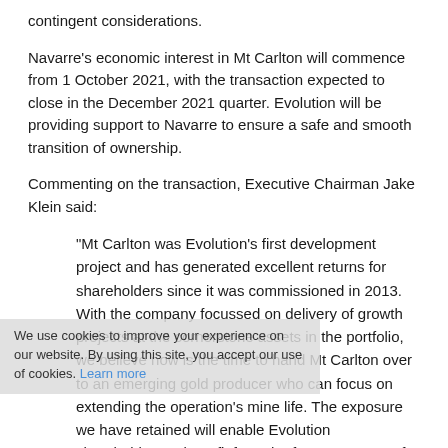contingent considerations.
Navarre's economic interest in Mt Carlton will commence from 1 October 2021, with the transaction expected to close in the December 2021 quarter. Evolution will be providing support to Navarre to ensure a safe and smooth transition of ownership.
Commenting on the transaction, Executive Chairman Jake Klein said:
“Mt Carlton was Evolution’s first development project and has generated excellent returns for shareholders since it was commissioned in 2013. With the company focussed on delivery of growth projects at the cornerstone assets in the portfolio, we believe now is the time to hand Mt Carlton over to an emerging gold producer who can focus on extending the operation’s mine life. The exposure we have retained will enable Evolution shareholders to benefit from the future success of the operation.
“Evolution would like to thank our employees, contractors, suppliers, the traditional custodians of the land the Birriah People, and the local community for their contribution to Mt Carlton’s success. We are confident that Navarre will be a